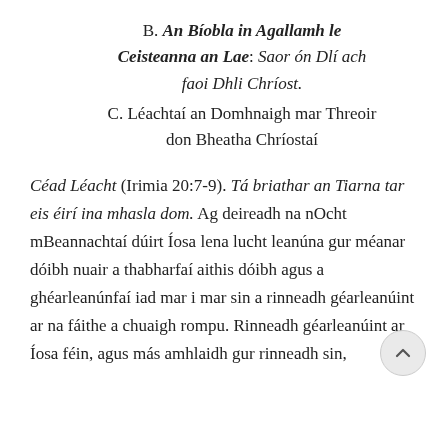B. An Bíobla in Agallamh le Ceisteanna an Lae: Saor ón Dlí ach faoi Dhli Chríost.
C. Léachtaí an Domhnaigh mar Threoir don Bheatha Chríostaí
Céad Léacht (Irimia 20:7-9). Tá briathar an Tiarna tar eis éirí ina mhasla dom. Ag deireadh na nOcht mBeannachtaí dúirt Íosa lena lucht leanúna gur méanar dóibh nuair a thabharfaí aithis dóibh agus a ghéarleanúnfaí iad mar i mar sin a rinneadh géarleanúint ar na fáithe a chuaigh rompu. Rinneadh géarleanúint ar Íosa féin, agus más amhlaidh gur rinneadh sin,